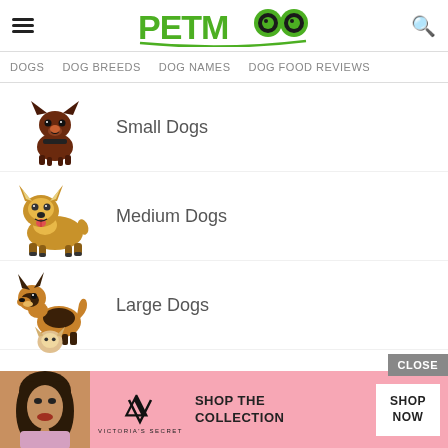PETMOO
DOGS  DOG BREEDS  DOG NAMES  DOG FOOD REVIEWS
Small Dogs
Medium Dogs
Large Dogs
[Figure (screenshot): Advertisement banner for Victoria's Secret showing a model and 'SHOP THE COLLECTION' text with a 'SHOP NOW' button on a pink background]
CLOSE